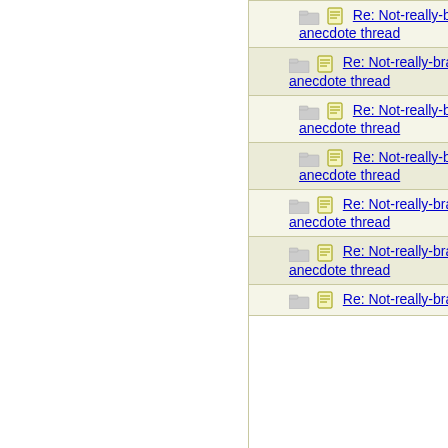| Thread | Author |
| --- | --- |
| Re: Not-really-brag-so-much-as-quirky-anecdote thread | AvoCado |
| Re: Not-really-brag-so-much-as-quirky-anecdote thread | ultramarin |
| Re: Not-really-brag-so-much-as-quirky-anecdote thread | deacongi |
| Re: Not-really-brag-so-much-as-quirky-anecdote thread | lilmisssun |
| Re: Not-really-brag-so-much-as-quirky-anecdote thread | La Texica |
| Re: Not-really-brag-so-much-as-quirky-anecdote thread | mnmom2 |
| Re: Not-really-brag-so-much-as-quirky-anecdote thread |  |